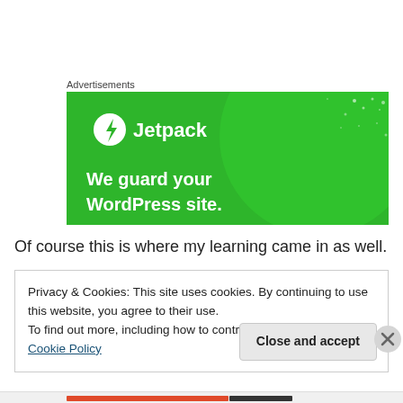Advertisements
[Figure (screenshot): Jetpack advertisement banner with green background showing a circle graphic, Jetpack logo with lightning bolt icon, and text 'We guard your WordPress site.']
Of course this is where my learning came in as well.  I
Privacy & Cookies: This site uses cookies. By continuing to use this website, you agree to their use.
To find out more, including how to control cookies, see here: Cookie Policy
Close and accept